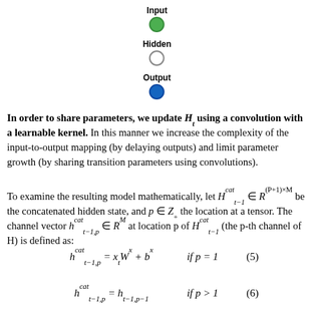[Figure (other): Legend showing three node types: Input (green filled circle), Hidden (open circle), Output (blue filled circle)]
In order to share parameters, we update H_t using a convolution with a learnable kernel. In this manner we increase the complexity of the input-to-output mapping (by delaying outputs) and limit parameter growth (by sharing transition parameters using convolutions).
To examine the resulting model mathematically, let H^cat_{t-1} in R^{(P+1)xM} be the concatenated hidden state, and p in Z_+ the location at a tensor. The channel vector h^cat_{t-1,p} in R^M at location p of H^cat_{t-1} (the p-th channel of H) is defined as: